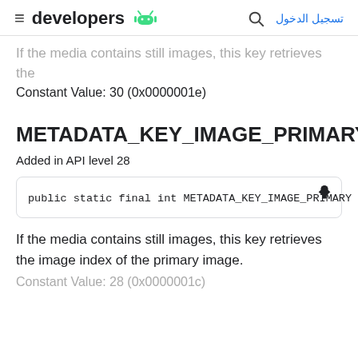developers [android logo] | [search] تسجيل الدخول
If the media contains still images, this key retrieves the height of the primary image.
Constant Value: 30 (0x0000001e)
METADATA_KEY_IMAGE_PRIMARY
Added in API level 28
public static final int METADATA_KEY_IMAGE_PRIMARY
If the media contains still images, this key retrieves the image index of the primary image.
Constant Value: 28 (0x0000001c)